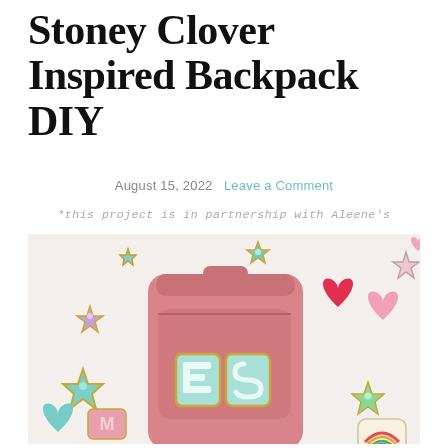Stoney Clover Inspired Backpack DIY
August 15, 2022   Leave a Comment
*this project is in partnership with Aleene's
[Figure (photo): Pink backpack with chenille letter patches 'ES' and various colorful felt patches (stars, hearts, rainbow, letters) scattered around it on a white surface]